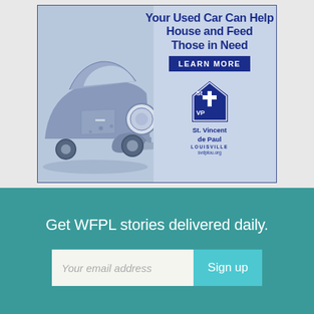[Figure (illustration): Advertisement for St. Vincent de Paul Louisville car donation. Shows a blue-tinted vintage Volkswagen Beetle on the left side, with text 'Your Used Car Can Help House and Feed Those in Need' and a 'LEARN MORE' button. Includes SVDP logo (house with cross) and text 'St. Vincent de Paul LOUISVILLE svdplou.org'.]
Get WFPL stories delivered daily.
Your email address
Sign up